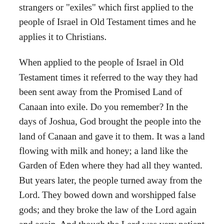strangers or "exiles" which first applied to the people of Israel in Old Testament times and he applies it to Christians.
When applied to the people of Israel in Old Testament times it referred to the way they had been sent away from the Promised Land of Canaan into exile. Do you remember? In the days of Joshua, God brought the people into the land of Canaan and gave it to them. It was a land flowing with milk and honey; a land like the Garden of Eden where they had all they wanted. But years later, the people turned away from the Lord. They bowed down and worshipped false gods; and they broke the law of the Lord again and again. And though the Lord was very patient with them, and sent them prophets to call them to repent, they persisted in their